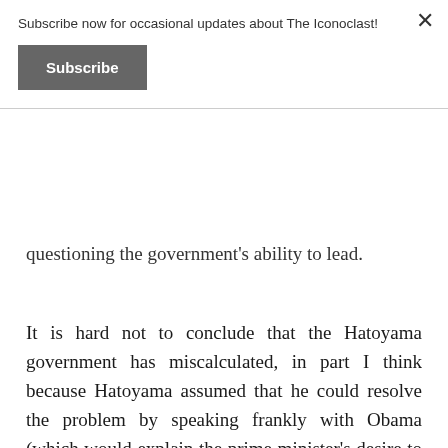Subscribe now for occasional updates about The Iconoclast!
Subscribe
questioning the government's ability to lead.
It is hard not to conclude that the Hatoyama government has miscalculated, in part I think because Hatoyama assumed that he could resolve the problem by speaking frankly with Obama (which would explain the prime minister's desire to summit with Obama on the sidelines in Copenhagen). In effect, Hatoyama seems to have desired the mirror image of Koizumi Junichiro's relationship with George W. Bush: where the Bush-Koizumi relationship deepened Japan's dependence on the US, and led Japan to support US over abroad, his